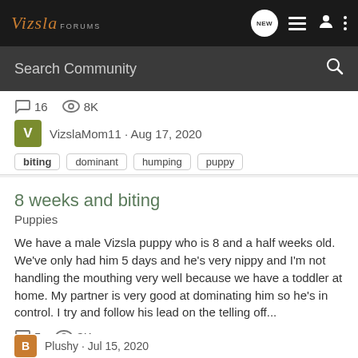Vizsla FORUMS
Search Community
16 comments · 8K views · VizslaMom11 · Aug 17, 2020
biting  dominant  humping  puppy
8 weeks and biting
Puppies
We have a male Vizsla puppy who is 8 and a half weeks old. We've only had him 5 days and he's very nippy and I'm not handling the mouthing very well because we have a toddler at home. My partner is very good at dominating him so he's in control. I try and follow his lead on the telling off...
5 comments · 3K views · B · Jul 15, 2020